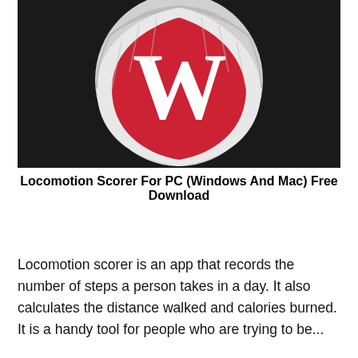[Figure (logo): University of Wisconsin-Madison 'W' shield logo on a dark background. The shield is white/light gray with a large red 'W' letter in the center. The shield has a decorative border with segmented sections around it.]
Locomotion Scorer For PC (Windows And Mac) Free Download
Locomotion scorer is an app that records the number of steps a person takes in a day. It also calculates the distance walked and calories burned. It is a handy tool for people who are trying to be...